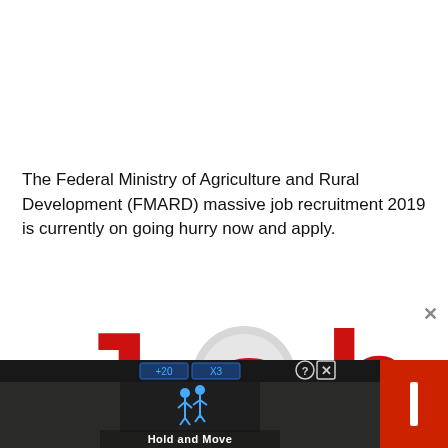The Federal Ministry of Agriculture and Rural Development (FMARD) massive job recruitment 2019 is currently on going hurry now and apply.
[Figure (illustration): Large stylized red 'Jobs' text logo with a magnifying glass graphic over the 'o', watermarked with 'www.sparkgist.com']
[Figure (screenshot): Advertisement banner at the bottom showing a dark video/game interface with 'Hold and Move' label, question mark and X close buttons, and a red sidebar button]